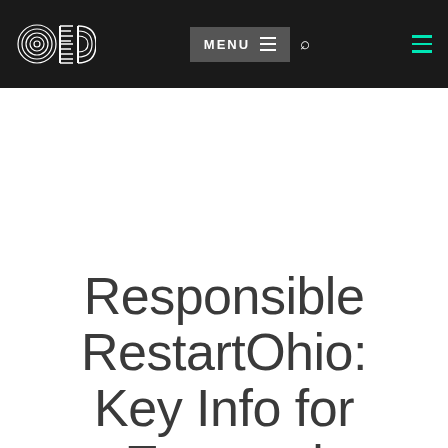OEDA — MENU navigation header
Responsible RestartOhio: Key Info for Economi…